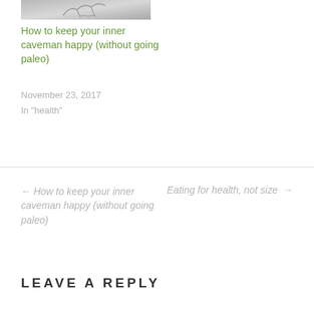[Figure (photo): Thumbnail image of a caveman or prehistoric scene, partially visible at top]
How to keep your inner caveman happy (without going paleo)
November 23, 2017
In "health"
← How to keep your inner caveman happy (without going paleo)
Eating for health, not size →
LEAVE A REPLY